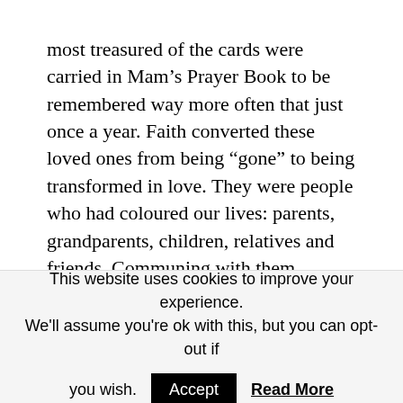most treasured of the cards were carried in Mam's Prayer Book to be remembered way more often that just once a year. Faith converted these loved ones from being “gone” to being transformed in love. They were people who had coloured our lives: parents, grandparents, children, relatives and friends. Communing with them brought a peace, lifted our pain and allowed them to continue as part of our lives. It transformed the sainthood that initial loss bestowed on them to an understanding of the realities of their lives. We
This website uses cookies to improve your experience. We'll assume you're ok with this, but you can opt-out if you wish.